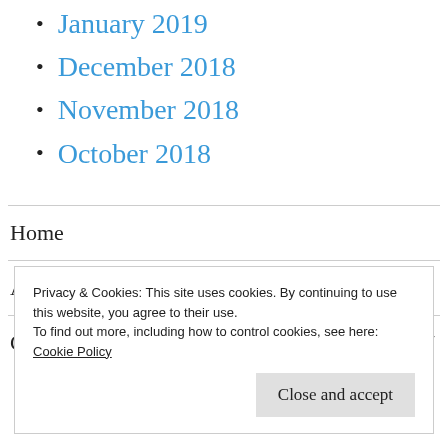January 2019
December 2018
November 2018
October 2018
Home
About
Changing Attitude England
Privacy & Cookies: This site uses cookies. By continuing to use this website, you agree to their use.
To find out more, including how to control cookies, see here:
Cookie Policy
Close and accept